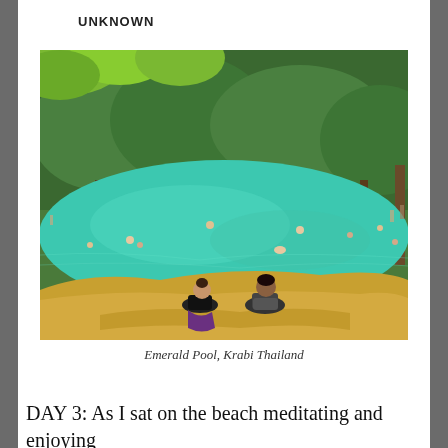UNKNOWN
[Figure (photo): Emerald Pool in Krabi, Thailand. Two people sit at the edge of a turquoise natural pool surrounded by dense tropical forest. Multiple swimmers are visible in the pool. The foreground shows golden-colored rock/sediment, and large green tropical leaves hang from the top of the frame.]
Emerald Pool, Krabi Thailand
DAY 3: As I sat on the beach meditating and enjoying